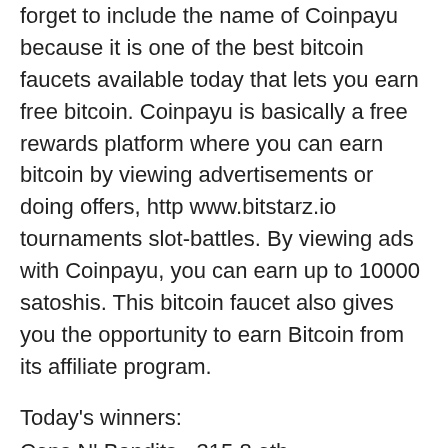forget to include the name of Coinpayu because it is one of the best bitcoin faucets available today that lets you earn free bitcoin. Coinpayu is basically a free rewards platform where you can earn bitcoin by viewing advertisements or doing offers, http www.bitstarz.io tournaments slot-battles. By viewing ads with Coinpayu, you can earn up to 10000 satoshis. This bitcoin faucet also gives you the opportunity to earn Bitcoin from its affiliate program.
Today's winners:
Cops N' Bandits - 315.8 eth
Lucky Coin - 479.2 dog
Mighty Rex - 403 ltc
Cherry Trio - 513.5 btc
Syndicate - 167 ltc
Victorious - 716.5 eth
Boomanji - 221.7 ltc